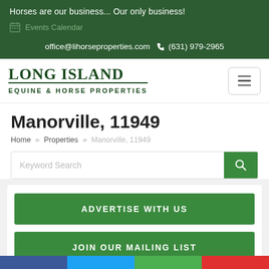Horses are our business... Our only business!
Events Calendar
office@lihorseproperties.com  (631) 979-2965
LONG ISLAND EQUINE & HORSE PROPERTIES
Manorville, 11949
Home » Properties » Manorville, 11949
Keyword Search
ADVERTISE WITH US
JOIN OUR MAILING LIST